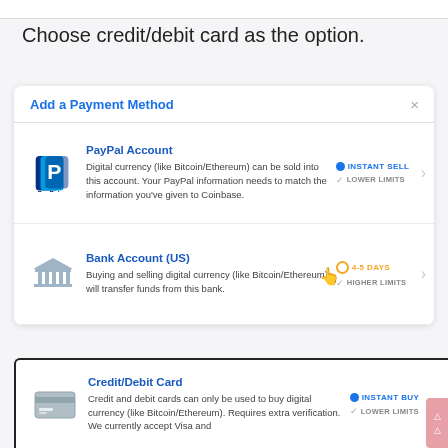Choose credit/debit card as the option.
Add a Payment Method
PayPal Account
Digital currency (like Bitcoin/Ethereum) can be sold into this account. Your PayPal information needs to match the information you've given to Coinbase.
INSTANT SELL
LOWER LIMITS
Bank Account (US)
Buying and selling digital currency (like Bitcoin/Ethereum) will transfer funds from this bank.
4-5 DAYS
HIGHER LIMITS
Credit/Debit Card
Credit and debit cards can only be used to buy digital currency (like Bitcoin/Ethereum). Requires extra verification. We currently accept Visa and
INSTANT BUY
LOWER LIMITS